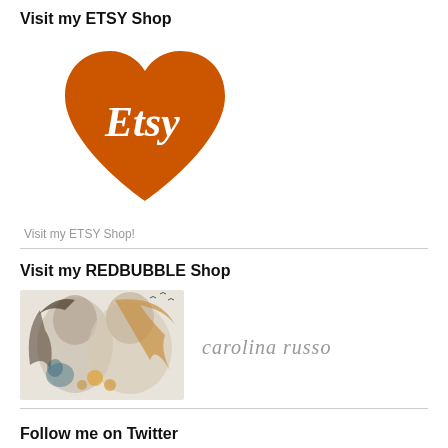Visit my ETSY Shop
[Figure (logo): Etsy orange heart-shaped logo with white cursive 'Etsy' text]
Visit my ETSY Shop!
Visit my REDBUBBLE Shop
[Figure (illustration): Two illustrated female figures with flowing hair and flowers, next to a cursive signature reading 'Carolina Russo']
Follow me on Twitter